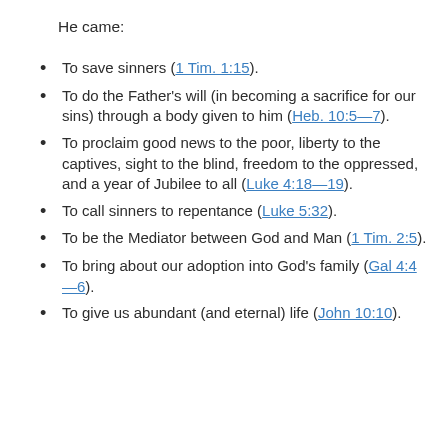He came:
To save sinners (1 Tim. 1:15).
To do the Father's will (in becoming a sacrifice for our sins) through a body given to him (Heb. 10:5—7).
To proclaim good news to the poor, liberty to the captives, sight to the blind, freedom to the oppressed, and a year of Jubilee to all (Luke 4:18—19).
To call sinners to repentance (Luke 5:32).
To be the Mediator between God and Man (1 Tim. 2:5).
To bring about our adoption into God's family (Gal 4:4—6).
To give us abundant (and eternal) life (John 10:10).